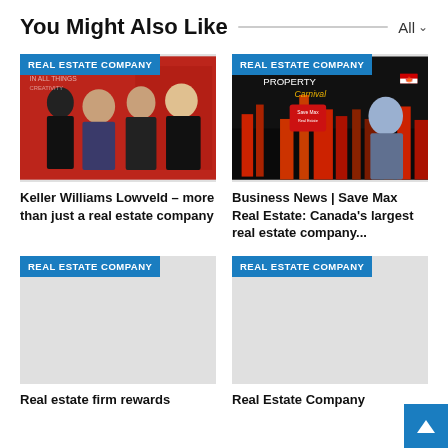You Might Also Like
[Figure (photo): Group photo of four people in front of a red branded backdrop — Keller Williams Lowveld real estate company event]
Keller Williams Lowveld – more than just a real estate company
[Figure (photo): Property Carnival promotional graphic — Save Max Real Estate Canada's largest real estate company with Toronto skyline and man in suit]
Business News | Save Max Real Estate: Canada's largest real estate company...
[Figure (photo): Placeholder image for Real Estate Company card — Real estate firm rewards]
Real estate firm rewards
[Figure (photo): Placeholder image for Real Estate Company card — Real Estate Company]
Real Estate Company